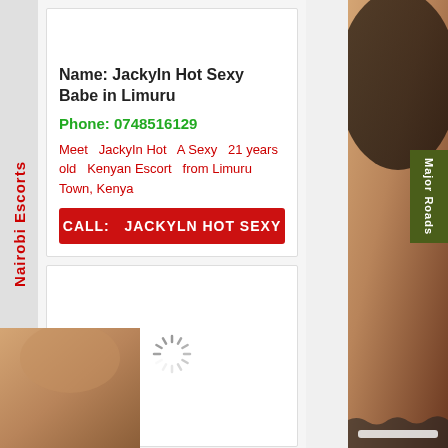Nairobi Escorts
Name: JackyIn Hot Sexy Babe in Limuru
Phone: 0748516129
Meet  JackyIn Hot  A Sexy  21 years old  Kenyan Escort  from Limuru Town, Kenya
CALL:  JACKYLN HOT SEXY
Major Roads
[Figure (photo): Loading spinner / image placeholder in second card]
[Figure (photo): Right side photo of person]
[Figure (photo): Bottom left photo of person]